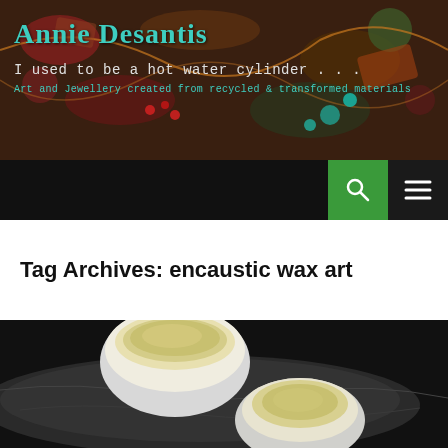[Figure (photo): Header banner showing colorful jewellery and craft items on dark background with 'Annie Desantis' text overlay]
Annie Desantis
I used to be a hot water cylinder . . .
Art and Jewellery created from recycled & transformed materials
[Figure (screenshot): Navigation bar with black background, green search button with magnifying glass icon, and dark menu/hamburger button]
Tag Archives: encaustic wax art
[Figure (photo): Photo of two ceramic/porcelain bowls with yellowish interior glaze, placed on a dark stone surface against a dark background]